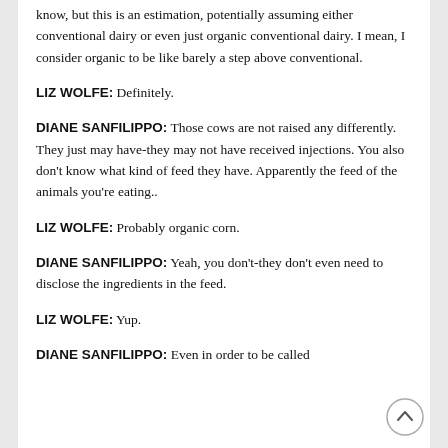know, but this is an estimation, potentially assuming either conventional dairy or even just organic conventional dairy. I mean, I consider organic to be like barely a step above conventional.
LIZ WOLFE: Definitely.
DIANE SANFILIPPO: Those cows are not raised any differently. They just may have-they may not have received injections. You also don't know what kind of feed they have. Apparently the feed of the animals you're eating..
LIZ WOLFE: Probably organic corn.
DIANE SANFILIPPO: Yeah, you don't-they don't even need to disclose the ingredients in the feed.
LIZ WOLFE: Yup.
DIANE SANFILIPPO: Even in order to be called